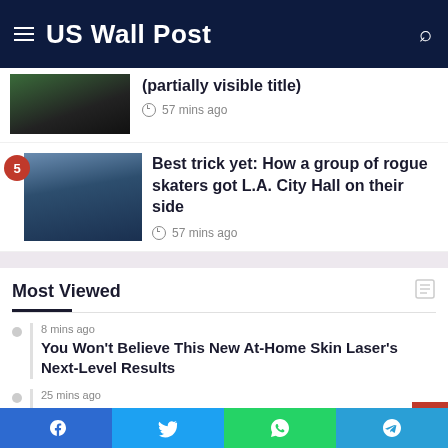US Wall Post
[Figure (photo): Partial view of article 4 thumbnail image, dark/green tones]
57 mins ago
Best trick yet: How a group of rogue skaters got L.A. City Hall on their side
57 mins ago
Most Viewed
8 mins ago
You Won't Believe This New At-Home Skin Laser's Next-Level Results
25 mins ago
Singapore's Scoot Says "Pikachu! I Choose You!" W…